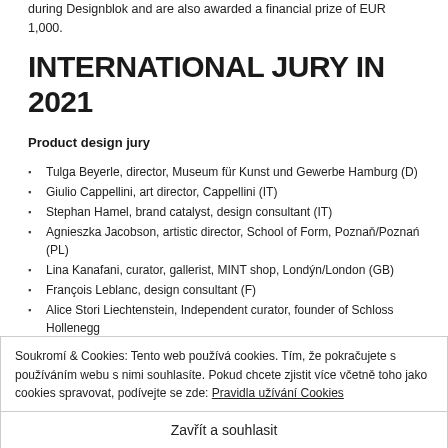during Designblok and are also awarded a financial prize of EUR 1,000.
INTERNATIONAL JURY IN 2021
Product design jury
Tulga Beyerle, director, Museum für Kunst und Gewerbe Hamburg (D)
Giulio Cappellini, art director, Cappellini (IT)
Stephan Hamel, brand catalyst, design consultant (IT)
Agnieszka Jacobson, artistic director, School of Form, Poznaň/Poznań (PL)
Lina Kanafani, curator, gallerist, MINT shop, Londýn/London (GB)
François Leblanc, design consultant (F)
Alice Stori Liechtenstein, Independent curator, founder of Schloss Hollenegg
Soukromí & Cookies: Tento web používá cookies. Tím, že pokračujete s používáním webu s nimi souhlasíte. Pokud chcete zjistit více včetně toho jako cookies spravovat, podívejte se zde: Pravidla užívání Cookies
Zavřít a souhlasit